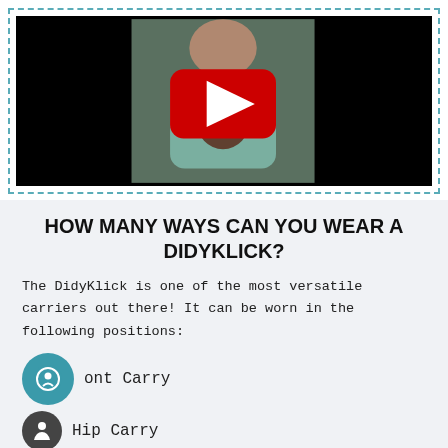[Figure (screenshot): Video thumbnail showing a woman wearing a baby in a carrier (DidyKlick), with a YouTube play button overlay, inside a teal dashed border frame.]
HOW MANY WAYS CAN YOU WEAR A DIDYKLICK?
The DidyKlick is one of the most versatile carriers out there! It can be worn in the following positions:
Front Carry
Hip Carry